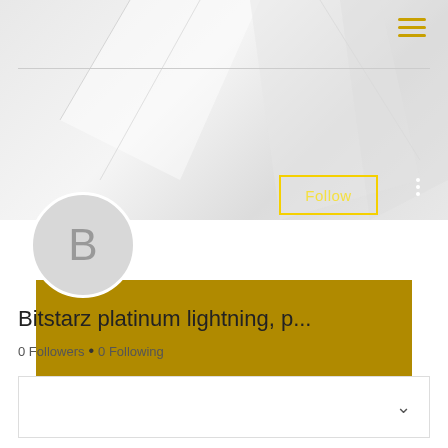[Figure (screenshot): Profile page header with decorative geometric light grey background, hamburger menu icon (gold/amber), horizontal divider line, gold banner, avatar circle with letter B, Follow button, three-dot menu, profile name, followers info, dropdown card, and partial bottom text]
Bitstarz platinum lightning, p...
0 Followers • 0 Following
Bo Sh...